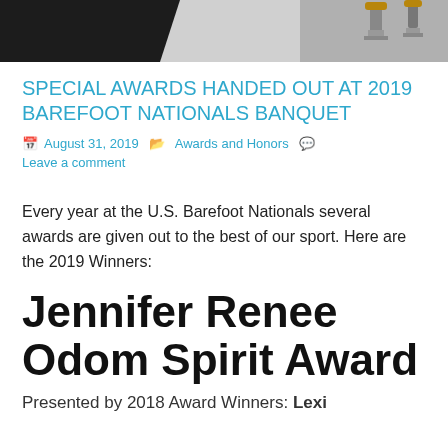[Figure (photo): Top portion of a photo showing a dark background with what appears to be a trophy or award object with gold elements on the right side.]
SPECIAL AWARDS HANDED OUT AT 2019 BAREFOOT NATIONALS BANQUET
August 31, 2019   Awards and Honors   Leave a comment
Every year at the U.S. Barefoot Nationals several awards are given out to the best of our sport. Here are the 2019 Winners:
Jennifer Renee Odom Spirit Award
Presented by 2018 Award Winners: Lexi